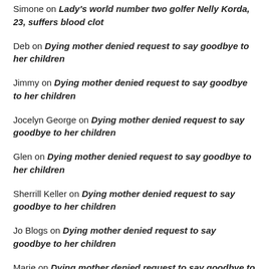Simone on Lady's world number two golfer Nelly Korda, 23, suffers blood clot
Deb on Dying mother denied request to say goodbye to her children
Jimmy on Dying mother denied request to say goodbye to her children
Jocelyn George on Dying mother denied request to say goodbye to her children
Glen on Dying mother denied request to say goodbye to her children
Sherrill Keller on Dying mother denied request to say goodbye to her children
Jo Blogs on Dying mother denied request to say goodbye to her children
Marie on Dying mother denied request to say goodbye to her children